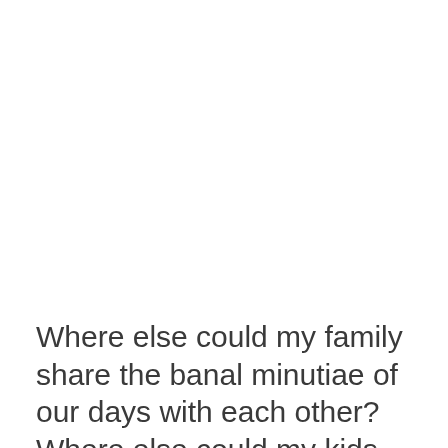Where else could my family share the banal minutiae of our days with each other? Where else could my kids kick each other under the table and grab food off each others plates above it? Where else could we bond day in and day out as single